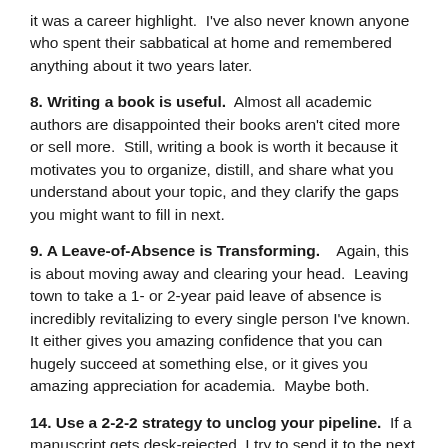it was a career highlight.  I've also never known anyone who spent their sabbatical at home and remembered anything about it two years later.
8. Writing a book is useful.  Almost all academic authors are disappointed their books aren't cited more or sell more.  Still, writing a book is worth it because it motivates you to organize, distill, and share what you understand about your topic, and they clarify the gaps you might want to fill in next.
9. A Leave-of-Absence is Transforming.    Again, this is about moving away and clearing your head.  Leaving town to take a 1- or 2-year paid leave of absence is incredibly revitalizing to every single person I've known.  It either gives you amazing confidence that you can hugely succeed at something else, or it gives you amazing appreciation for academia.  Maybe both.
14. Use a 2-2-2 strategy to unclog your pipeline.  If a manuscript gets desk-rejected, I try to send it to the next journal within 2 days.  If it gets conditionally accepted, I revise it and send it back within 2 weeks. If it gets a revise-and-resubmit that doesn't require a condition, I try to submit it back within 2 months.